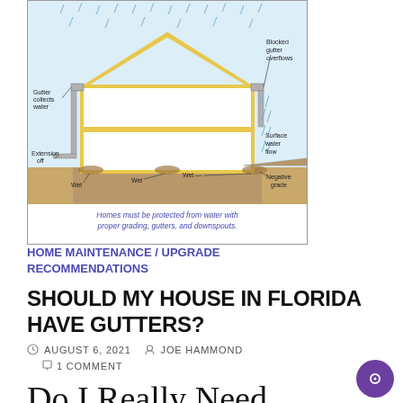[Figure (engineering-diagram): Cross-section diagram of a house showing water drainage problems: gutter collects water, blocked gutter overflows, extension off, surface water flow, negative grade, wet areas at foundation. Caption reads: Homes must be protected from water with proper grading, gutters, and downspouts.]
HOME MAINTENANCE / UPGRADE RECOMMENDATIONS
SHOULD MY HOUSE IN FLORIDA HAVE GUTTERS?
AUGUST 6, 2021  JOE HAMMOND  1 COMMENT
Do I Really Need Gutters?